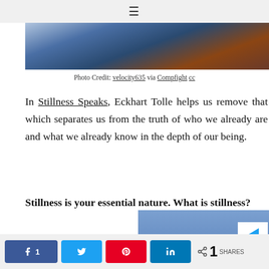[Figure (photo): Landscape panoramic photo showing mountains, canyon with blue-purple sky reflected in water]
Photo Credit: velocity635 via Compfight cc
In Stillness Speaks, Eckhart Tolle helps us remove that which separates us from the truth of who we already are and what we already know in the depth of our being.
Stillness is your essential nature. What is stillness?
[Figure (photo): Partial view of book cover showing 'STILLNES' text in dark blue on blue background]